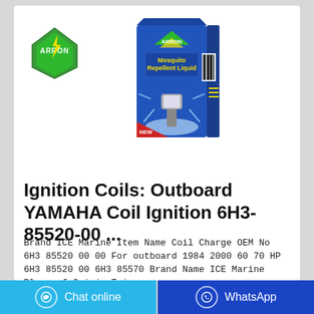[Figure (photo): Arrow brand logo (green diamond shape with arrow) top left, and product box image (Arrow Mosquito Repellent Liquid blue box with electric heater device) center of card]
Ignition Coils: Outboard YAMAHA Coil Ignition 6H3-85520-00 ...
Brand ICE Marine Item Name Coil Charge OEM No 6H3 85520 00 00 For outboard 1984 2000 60 70 HP 6H3 85520 00 6H3 85570 Brand Name ICE Marine Place of Origin Taiwan